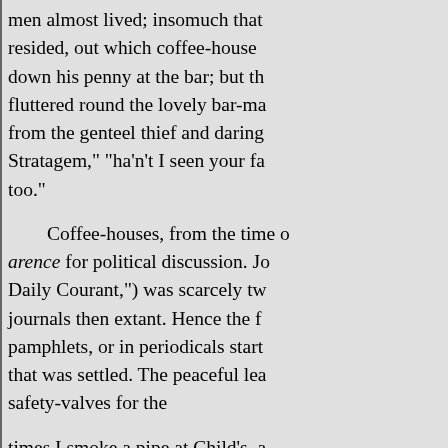men almost lived; insomuch that resided, out which coffee-house down his penny at the bar; but th fluttered round the lovely bar-ma from the genteel thief and daring Stratagem," "ha'n't I seen your fa too."
Coffee-houses, from the time arence for political discussion. J Daily Courant,") was scarcely tw journals then extant. Hence the f pamphlets, or in periodicals start that was settled. The peaceful lea safety-valves for the
times I smoke a pipe at Child's, a conversation of every table in the sometimes join the little commit improve.
escape of overboiling party zeal; often cooled by the rapier's point
Each coffee-house had its politic